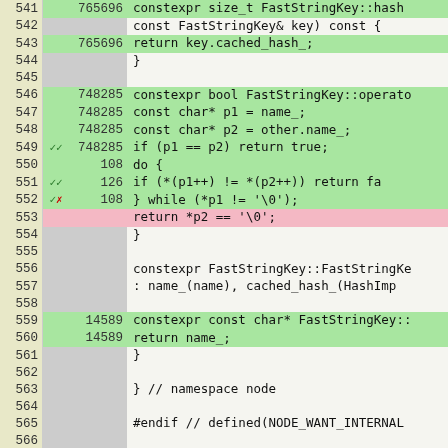[Figure (screenshot): Code coverage viewer showing C++ source lines 541-567 with line numbers, hit counts, coverage markers (checkmarks/X), and syntax-highlighted code. Green rows indicate covered lines, pink row indicates uncovered line.]